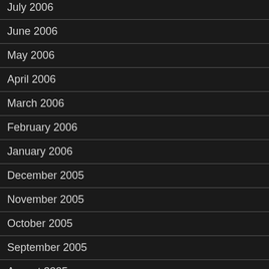July 2006
June 2006
May 2006
April 2006
March 2006
February 2006
January 2006
December 2005
November 2005
October 2005
September 2005
August 2005
July 2005